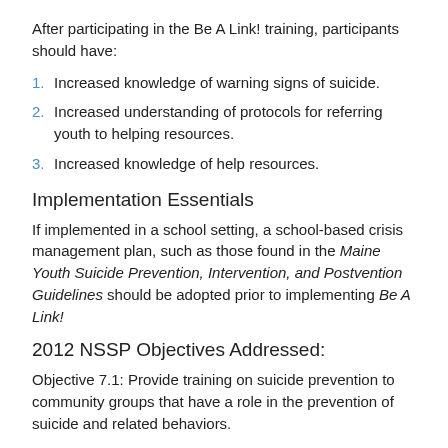After participating in the Be A Link! training, participants should have:
1. Increased knowledge of warning signs of suicide.
2. Increased understanding of protocols for referring youth to helping resources.
3. Increased knowledge of help resources.
Implementation Essentials
If implemented in a school setting, a school-based crisis management plan, such as those found in the Maine Youth Suicide Prevention, Intervention, and Postvention Guidelines should be adopted prior to implementing Be A Link!
2012 NSSP Objectives Addressed:
Objective 7.1: Provide training on suicide prevention to community groups that have a role in the prevention of suicide and related behaviors.